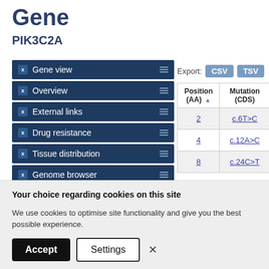Gene
PIK3C2A
Gene view
Overview
External links
Drug resistance
Tissue distribution
Genome browser
Mutation distribution
Export: CSV TSV
| Position (AA) ▲ | Mutation (CDS) |
| --- | --- |
| 2 | c.6T>C |
| 4 | c.12A>C |
| 8 | c.24C>T |
Your choice regarding cookies on this site
We use cookies to optimise site functionality and give you the best possible experience.
Accept
Settings